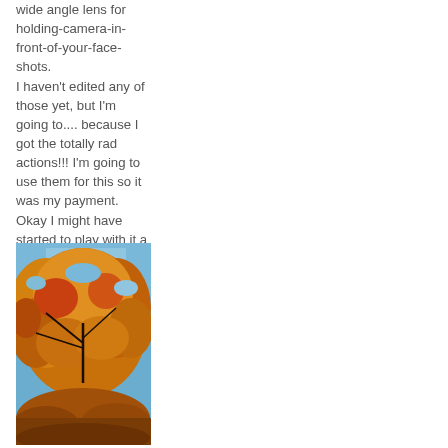wide angle lens for holding-camera-in-front-of-your-face-shots.
I haven't edited any of those yet, but I'm going to.... because I got the totally rad actions!!! I'm going to use them for this so it was my payment.  Okay I might have started to play with it a little:
[Figure (photo): Autumn tree with orange and golden leaves against a blue sky, photographed from below looking up.]